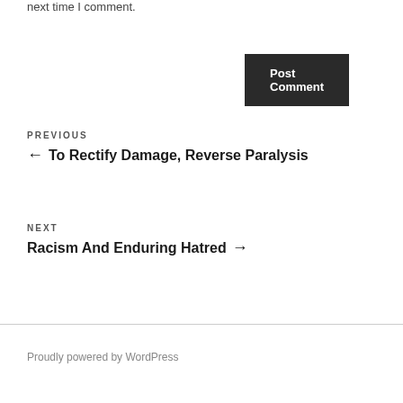next time I comment.
Post Comment
PREVIOUS
← To Rectify Damage, Reverse Paralysis
NEXT
Racism And Enduring Hatred →
Proudly powered by WordPress